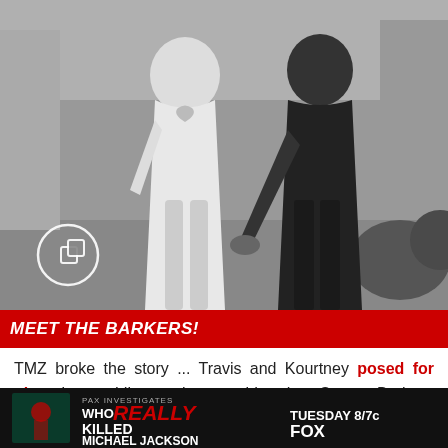[Figure (photo): Black and white photo of a couple holding hands, woman in white mini dress with heart pendant, man in dark suit, walking outside courthouse]
MEET THE BARKERS!
TMZ broke the story ... Travis and Kourtney posed for pics in wedding attire outside the Santa Barbara Courthouse over the weekend. A source told us they've been legally married here in the U.S. ... but the ca
[Figure (advertisement): Ad banner: WHO REALLY KILLED MICHAEL JACKSON - TUESDAY 8/7c FOX]